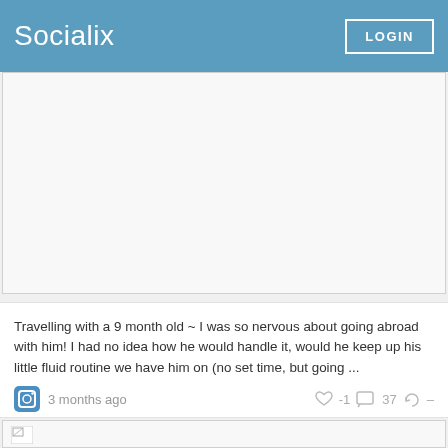Socialix  LOGIN
[Figure (photo): Blank/placeholder image area, white background with light border]
Travelling with a 9 month old ~ I was so nervous about going abroad with him! I had no idea how he would handle it, would he keep up his little fluid routine we have him on (no set time, but going ...
3 months ago  -1  37  –
[Figure (photo): Partially visible image at bottom of page, broken image icon visible]